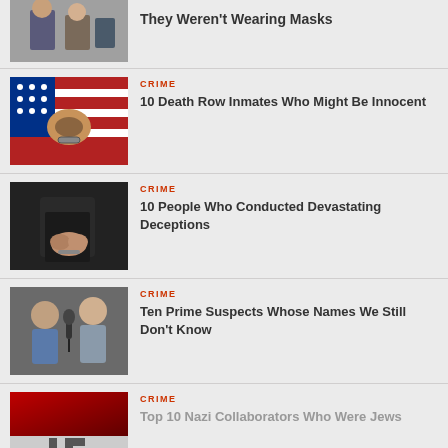[Figure (photo): Partial photo of people, cropped at top]
They Weren't Wearing Masks
[Figure (photo): Handcuffed hands in front of American flag]
CRIME
10 Death Row Inmates Who Might Be Innocent
[Figure (photo): Person with hands clasped/crossed behind back in dark clothing]
CRIME
10 People Who Conducted Devastating Deceptions
[Figure (photo): Two people in interview or interrogation setting with microphone]
CRIME
Ten Prime Suspects Whose Names We Still Don't Know
[Figure (photo): Dark red background with Nazi swastika symbol below]
CRIME
Top 10 Nazi Collaborators Who Were Jews